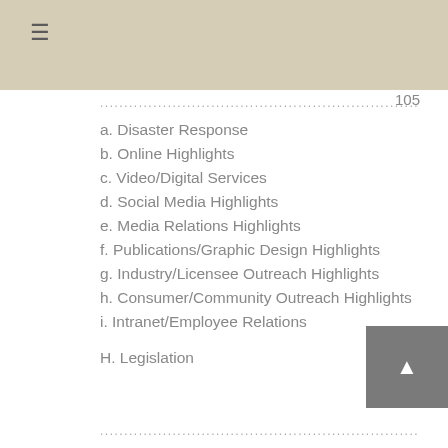≡
..........................................................................................  105
a. Disaster Response
b. Online Highlights
c. Video/Digital Services
d. Social Media Highlights
e. Media Relations Highlights
f. Publications/Graphic Design Highlights
g. Industry/Licensee Outreach Highlights
h. Consumer/Community Outreach Highlights
i. Intranet/Employee Relations
H. Legislation
...................................................................................................